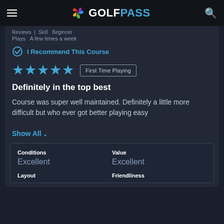GOLFPASS
Reviews  |  Skill  Beginner
Plays  A few times a week
I Recommend This Course
★★★★★  First Time Playing
Definitely in the top best
Course was super well maintained. Definitely a little more difficult but who ever got better playing easy
Show All
| Conditions | Value |
| --- | --- |
| Excellent | Excellent |
| Layout | Friendliness |